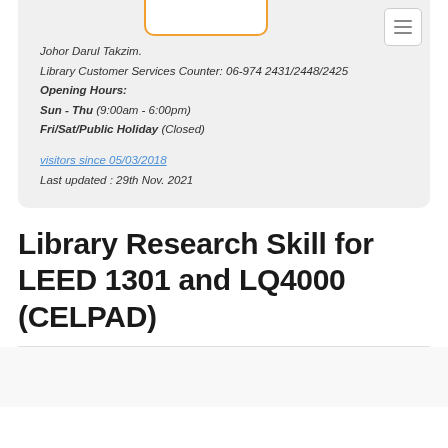Johor Darul Takzim.
Library Customer Services Counter: 06-974 2431/2448/2425
Opening Hours:
Sun - Thu (9:00am - 6:00pm)
Fri/Sat/Public Holiday (Closed)
visitors since 05/03/2018
Last updated : 29th Nov. 2021
Library Research Skill for LEED 1301 and LQ4000 (CELPAD)